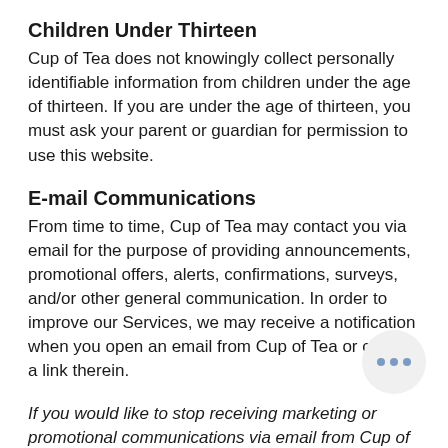Children Under Thirteen
Cup of Tea does not knowingly collect personally identifiable information from children under the age of thirteen. If you are under the age of thirteen, you must ask your parent or guardian for permission to use this website.
E-mail Communications
From time to time, Cup of Tea may contact you via email for the purpose of providing announcements, promotional offers, alerts, confirmations, surveys, and/or other general communication. In order to improve our Services, we may receive a notification when you open an email from Cup of Tea or click on a link therein.
If you would like to stop receiving marketing or promotional communications via email from Cup of Tea, you may opt out of such...